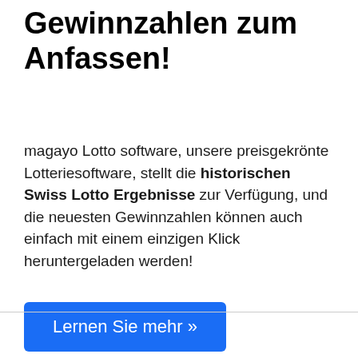Gewinnzahlen zum Anfassen!
magayo Lotto software, unsere preisgekrönte Lotteriesoftware, stellt die historischen Swiss Lotto Ergebnisse zur Verfügung, und die neuesten Gewinnzahlen können auch einfach mit einem einzigen Klick heruntergeladen werden!
Lernen Sie mehr »